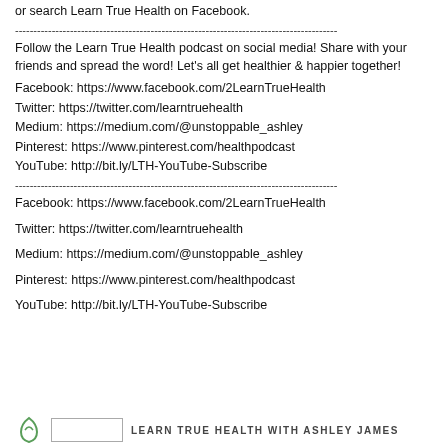or search Learn True Health on Facebook.
--------------------------------------------------------------------------------
Follow the Learn True Health podcast on social media! Share with your friends and spread the word! Let's all get healthier & happier together!
Facebook: https://www.facebook.com/2LearnTrueHealth
Twitter: https://twitter.com/learntruehealth
Medium: https://medium.com/@unstoppable_ashley
Pinterest: https://www.pinterest.com/healthpodcast
YouTube: http://bit.ly/LTH-YouTube-Subscribe
--------------------------------------------------------------------------------
Facebook: https://www.facebook.com/2LearnTrueHealth
Twitter: https://twitter.com/learntruehealth
Medium: https://medium.com/@unstoppable_ashley
Pinterest: https://www.pinterest.com/healthpodcast
YouTube: http://bit.ly/LTH-YouTube-Subscribe
LEARN TRUE HEALTH WITH ASHLEY JAMES